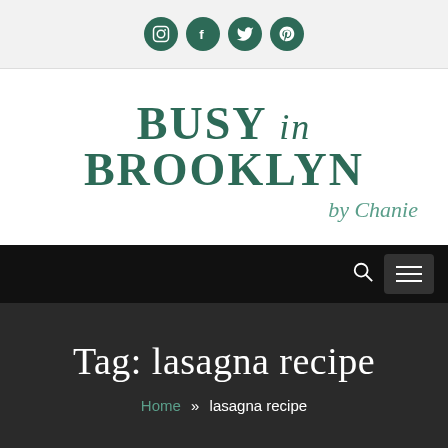[Figure (logo): Social media icons: Instagram, Facebook, Twitter, Pinterest in dark green circles]
BUSY in BROOKLYN by Chanie
[Figure (other): Navigation bar with search icon and hamburger menu button on black background]
Tag: lasagna recipe
Home » lasagna recipe